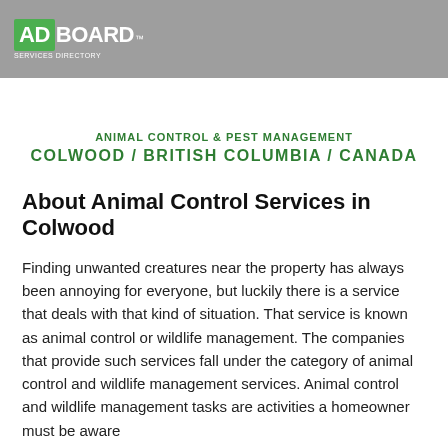ADBOARD™ SERVICES DIRECTORY
ANIMAL CONTROL & PEST MANAGEMENT
COLWOOD / BRITISH COLUMBIA / CANADA
About Animal Control Services in Colwood
Finding unwanted creatures near the property has always been annoying for everyone, but luckily there is a service that deals with that kind of situation. That service is known as animal control or wildlife management. The companies that provide such services fall under the category of animal control and wildlife management services. Animal control and wildlife management tasks are activities a homeowner must be aware